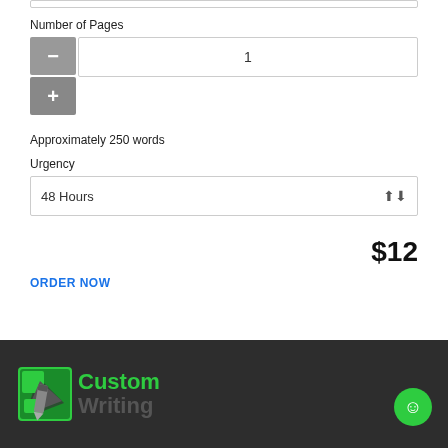Number of Pages
1
Approximately 250 words
Urgency
48 Hours
$12
ORDER NOW
Custom Writing